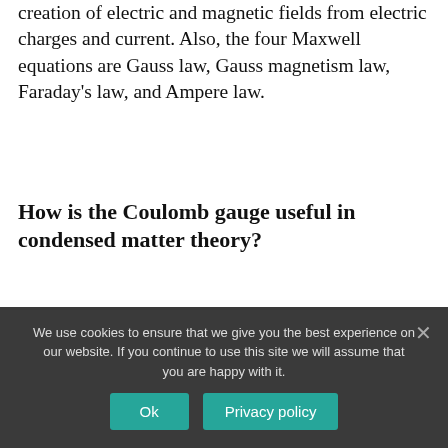Maxwell's equations in understanding the creation of electric and magnetic fields from electric charges and current. Also, the four Maxwell equations are Gauss law, Gauss magnetism law, Faraday's law, and Ampere law.
How is the Coulomb gauge useful in condensed matter theory?
The Coulomb gauge is very useful in condensed matter theory where the charges are non-relativistic for the most part and the
We use cookies to ensure that we give you the best experience on our website. If you continue to use this site we will assume that you are happy with it.